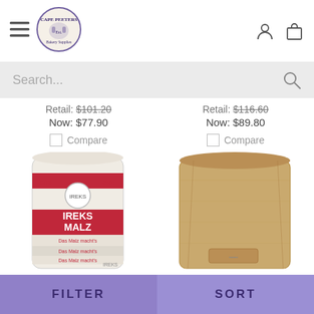[Figure (logo): Cape Peeters logo - circular badge with text and figures]
Retail: $101.20
Now: $77.90
Retail: $116.60
Now: $89.80
Compare
Compare
[Figure (photo): IREKS MALZ flour/malt bag - white bag with red wheat design]
[Figure (photo): Plain brown paper bag/sack product]
FILTER
SORT